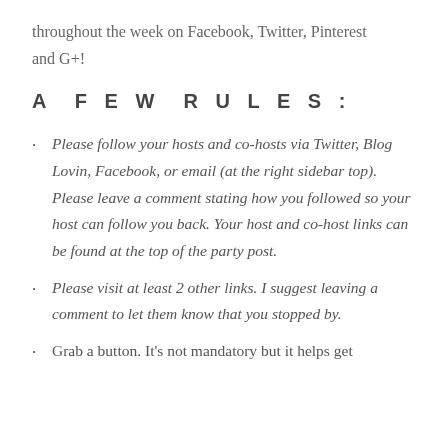throughout the week on Facebook, Twitter, Pinterest and G+!
A  F E W  R U L E S :
Please follow your hosts and co-hosts via Twitter, Blog Lovin, Facebook, or email (at the right sidebar top). Please leave a comment stating how you followed so your host can follow you back. Your host and co-host links can be found at the top of the party post.
Please visit at least 2 other links. I suggest leaving a comment to let them know that you stopped by.
Grab a button. It's not mandatory but it helps get